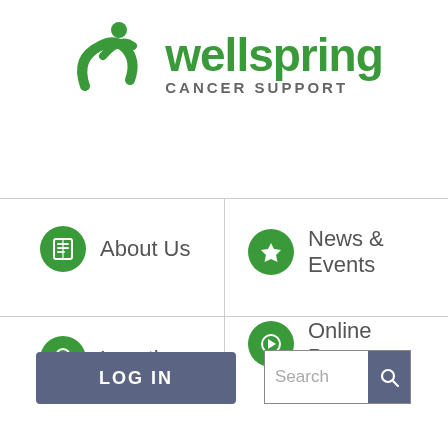[Figure (logo): Wellspring Cancer Support logo with green stylized figure and text]
About Us
News & Events
Locations
Online Programs
LOG IN
Search